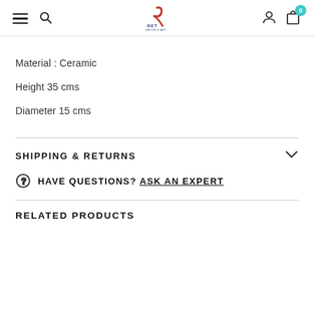RET [logo] navigation header with hamburger, search, user, cart
Material : Ceramic
Height 35 cms
Diameter 15 cms
SHIPPING & RETURNS
HAVE QUESTIONS? ASK AN EXPERT
RELATED PRODUCTS